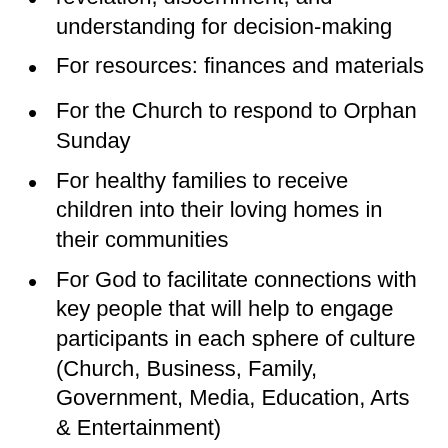revelation, discernment, and understanding for decision-making
For resources: finances and materials
For the Church to respond to Orphan Sunday
For healthy families to receive children into their loving homes in their communities
For God to facilitate connections with key people that will help to engage participants in each sphere of culture (Church, Business, Family, Government, Media, Education, Arts & Entertainment)
For families and communities to have sustainable ways to generate income for household